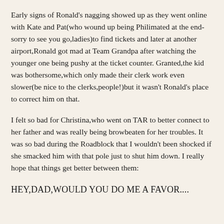Early signs of Ronald's nagging showed up as they went online with Kate and Pat(who wound up being Philimated at the end-sorry to see you go,ladies)to find tickets and later at another airport,Ronald got mad at Team Grandpa after watching the younger one being pushy at the ticket counter. Granted,the kid was bothersome,which only made their clerk work even slower(be nice to the clerks,people!)but it wasn't Ronald's place to correct him on that.
I felt so bad for Christina,who went on TAR to better connect to her father and was really being browbeaten for her troubles. It was so bad during the Roadblock that I wouldn't been shocked if she smacked him with that pole just to shut him down. I really hope that things get better between them:
HEY,DAD,WOULD YOU DO ME A FAVOR....